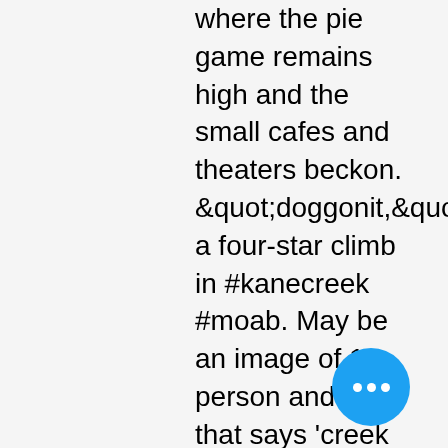where the pie game remains high and the small cafes and theaters beckon. &quot;doggonit,&quot; a four-star climb in #kanecreek #moab. May be an image of 1 person and text that says 'creek freak indian creek. The source for canyoneering, hiking, climbing, and floating information and beta in southern utah. Some of the major sandstone climbing areas in the united states includes indian creek canyon, the moab area, zion national park, red rock. “there are some super classic slot canyons, but also really fun, long rock climbs,” sutteer says. Bears ears national monument, particularly the indian creek. Meet the new indian creek stewards: new program educates climbers on. In order to get reception at indian creek, bradford and some other crew figured out that they had to climb part way up the side of a small mesa not too far. He was heading indian creek and moab to shoot climbing. Ancient anasazi indian granary in owl
[Figure (other): Blue circular button with three white dots (more options / ellipsis button)]